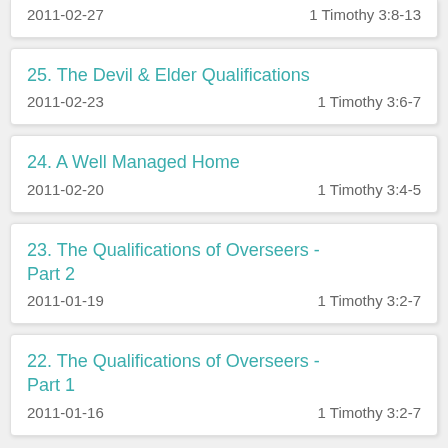2011-02-27    1 Timothy 3:8-13
25. The Devil & Elder Qualifications
2011-02-23    1 Timothy 3:6-7
24. A Well Managed Home
2011-02-20    1 Timothy 3:4-5
23. The Qualifications of Overseers - Part 2
2011-01-19    1 Timothy 3:2-7
22. The Qualifications of Overseers - Part 1
2011-01-16    1 Timothy 3:2-7